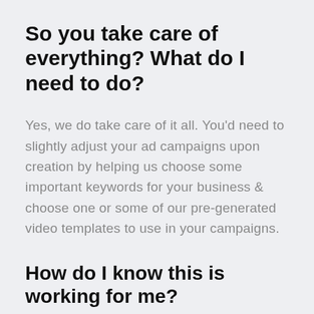So you take care of everything? What do I need to do?
Yes, we do take care of it all. You'd need to slightly adjust your ad campaigns upon creation by helping us choose some important keywords for your business & choose one or some of our pre-generated video templates to use in your campaigns.
How do I know this is working for me?